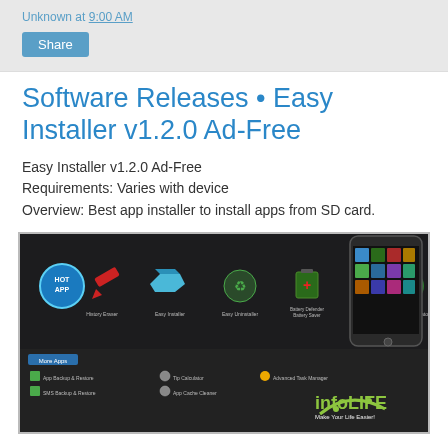Unknown at 9:00 AM
Share
Software Releases • Easy Installer v1.2.0 Ad-Free
Easy Installer v1.2.0 Ad-Free
Requirements: Varies with device
Overview: Best app installer to install apps from SD card.
[Figure (screenshot): Screenshot of Easy Installer app page showing app icons (History Eraser, Easy Installer, Easy Uninstaller, Battery Defender Battery Saver, App2SD, Discount Calculator), a smartphone displaying apps, and the infoLIFE logo with tagline 'Make Your Life Easier!']